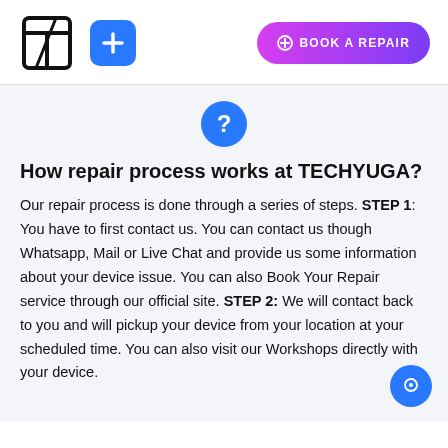[Figure (logo): TECHYUGA logo — stylized T letter in bold outline]
[Figure (illustration): Blue rounded square with white plus (+) icon]
[Figure (illustration): Purple-pink gradient rounded button with plus icon and text BOOK A REPAIR]
[Figure (illustration): Blue circle with white question mark icon]
How repair process works at TECHYUGA?
Our repair process is done through a series of steps. STEP 1: You have to first contact us. You can contact us though Whatsapp, Mail or Live Chat and provide us some information about your device issue. You can also Book Your Repair service through our official site. STEP 2: We will contact back to you and will pickup your device from your location at your scheduled time. You can also visit our Workshops directly with your device.